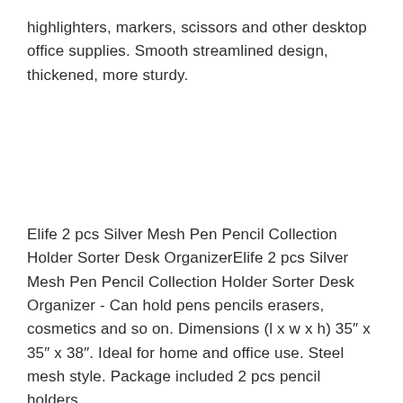highlighters, markers, scissors and other desktop office supplies. Smooth streamlined design, thickened, more sturdy.
Elife 2 pcs Silver Mesh Pen Pencil Collection Holder Sorter Desk OrganizerElife 2 pcs Silver Mesh Pen Pencil Collection Holder Sorter Desk Organizer - Can hold pens pencils erasers, cosmetics and so on. Dimensions (l x w x h) 35″ x 35″ x 38″. Ideal for home and office use. Steel mesh style. Package included 2 pcs pencil holders.